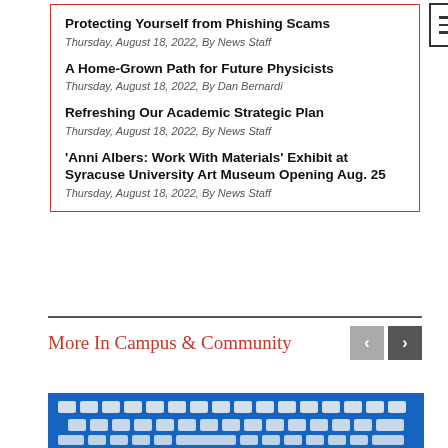Protecting Yourself from Phishing Scams
Thursday, August 18, 2022, By News Staff
A Home-Grown Path for Future Physicists
Thursday, August 18, 2022, By Dan Bernardi
Refreshing Our Academic Strategic Plan
Thursday, August 18, 2022, By News Staff
'Anni Albers: Work With Materials' Exhibit at Syracuse University Art Museum Opening Aug. 25
Thursday, August 18, 2022, By News Staff
More In Campus & Community
[Figure (photo): Close-up photo of a blue laptop keyboard with white keys]